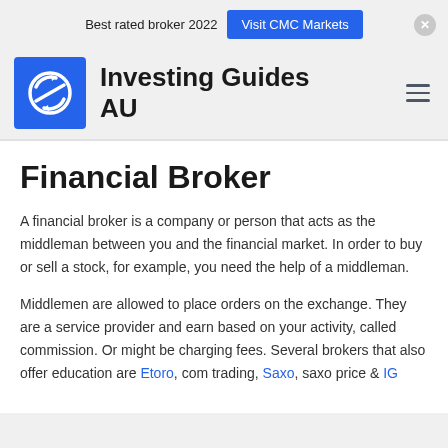Best rated broker 2022   Visit CMC Markets
[Figure (logo): Investing Guides AU logo — blue square with white stylized chart/arrow icon]
Investing Guides AU
Financial Broker
A financial broker is a company or person that acts as the middleman between you and the financial market. In order to buy or sell a stock, for example, you need the help of a middleman.
Middlemen are allowed to place orders on the exchange. They are a service provider and earn based on your activity, called commission. Or might be charging fees. Several brokers that also offer education are Etoro, com trading, Saxo, saxo price & IG